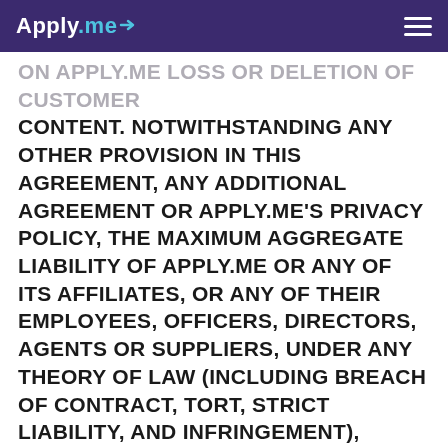Apply.me
ON APPLY.ME LOSS OR DELETION OF CUSTOMER CONTENT. NOTWITHSTANDING ANY OTHER PROVISION IN THIS AGREEMENT, ANY ADDITIONAL AGREEMENT OR APPLY.ME'S PRIVACY POLICY, THE MAXIMUM AGGREGATE LIABILITY OF APPLY.ME OR ANY OF ITS AFFILIATES, OR ANY OF THEIR EMPLOYEES, OFFICERS, DIRECTORS, AGENTS OR SUPPLIERS, UNDER ANY THEORY OF LAW (INCLUDING BREACH OF CONTRACT, TORT, STRICT LIABILITY, AND INFRINGEMENT), SHALL NOT EXCEED THE AMOUNT OF FEES ACTUALLY RECEIVED BY APPLY.ME FROM CUSTOMER FOR THE SIX MONTHS IMMEDIATELY PRECEDING THE